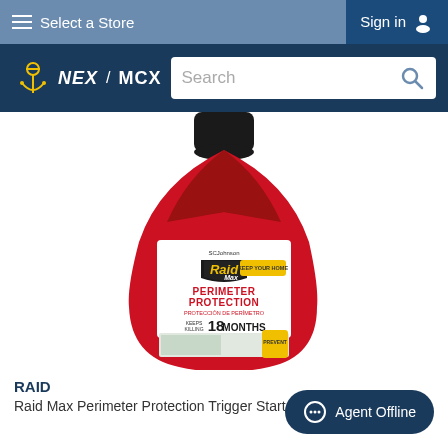Select a Store | Sign in
[Figure (screenshot): NEX / MCX logo and search bar on a dark navy background]
[Figure (photo): Raid Max Perimeter Protection Trigger Starter product bottle — red teardrop-shaped container with black trigger top, yellow Raid Max logo, white label reading PERIMETER PROTECTION, PROTECCION DE PERIMETRO, KEEPS KILLING FOR UP TO 18 MONTHS, with house image at bottom]
RAID
Raid Max Perimeter Protection Trigger Start